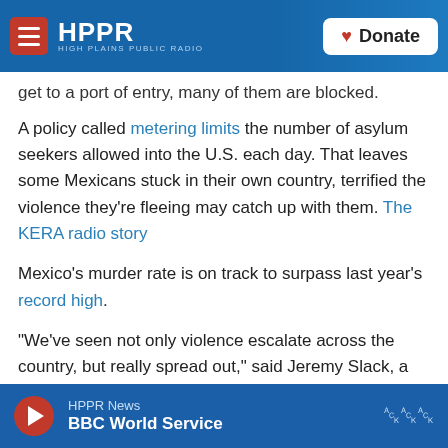HPPR — HIGH PLAINS PUBLIC RADIO | Donate
get to a port of entry, many of them are blocked.
A policy called metering limits the number of asylum seekers allowed into the U.S. each day. That leaves some Mexicans stuck in their own country, terrified the violence they're fleeing may catch up with them. The KERA radio story
Mexico's murder rate is on track to surpass last year's record high.
"We've seen not only violence escalate across the country, but really spread out," said Jeremy Slack, a professor at the University of Texas at El Paso who
HPPR News | BBC World Service